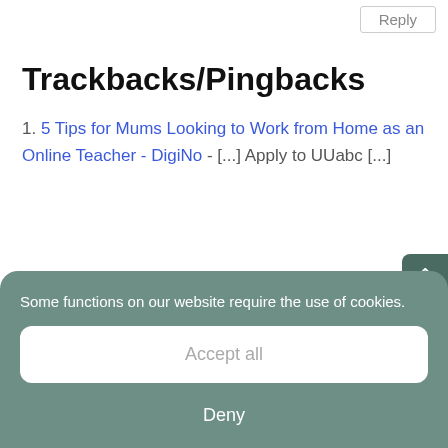Reply
Trackbacks/Pingbacks
1. 5 Tips for Mums Looking to Work from Home as an Online Teacher - DigiNo - [...] Apply to UUabc [...]
Submit a Comment
Some functions on our website require the use of cookies.
Accept all
Deny